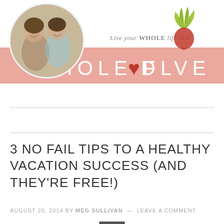[Figure (logo): Whole Food Love blog header with circular photo of two women, salmon ribbon banner with 'WHOLE FOOD LOVE' text, tagline 'Live your WHOLE life with', and beet/turnip illustration]
[Figure (other): Hamburger menu icon (three horizontal lines) between two horizontal rules]
3 NO FAIL TIPS TO A HEALTHY VACATION SUCCESS (AND THEY'RE FREE!)
AUGUST 20, 2014 BY MEG SULLIVAN — LEAVE A COMMENT